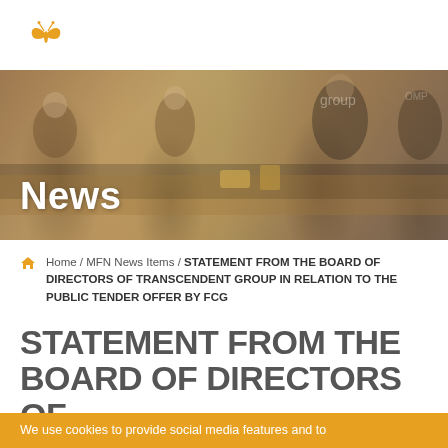[Figure (photo): News banner with blurred office/meeting background photo with people, overlaid with 'News' text in white]
Home / MFN News Items / STATEMENT FROM THE BOARD OF DIRECTORS OF TRANSCENDENT GROUP IN RELATION TO THE PUBLIC TENDER OFFER BY FCG
STATEMENT FROM THE BOARD OF DIRECTORS OF
We use cookies to provide social media features and to